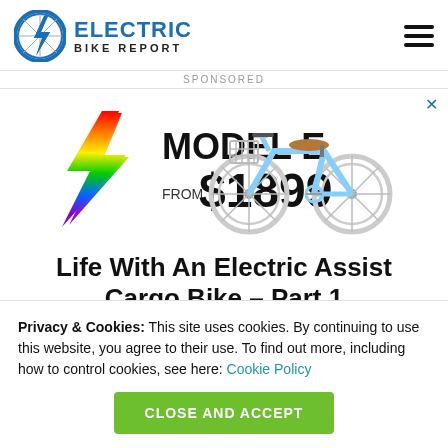Electric Bike Report
SPONSORED
[Figure (illustration): Advertisement banner for Model E electric bike from $1899, featuring rainbow lightning bolt graphic and a light blue cruiser-style electric bicycle with basket]
Life With An Electric Assist Cargo Bike – Part 1
Privacy & Cookies: This site uses cookies. By continuing to use this website, you agree to their use. To find out more, including how to control cookies, see here: Cookie Policy
CLOSE AND ACCEPT